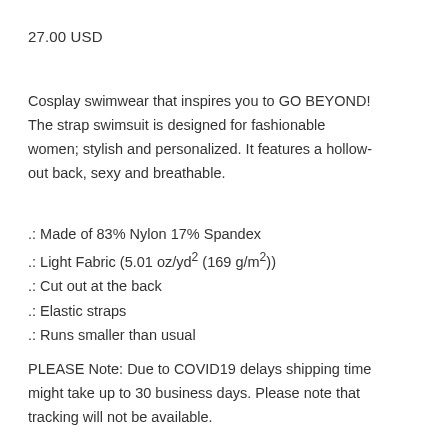27.00 USD
Cosplay swimwear that inspires you to GO BEYOND! The strap swimsuit is designed for fashionable women; stylish and personalized. It features a hollow-out back, sexy and breathable.
.: Made of 83% Nylon 17% Spandex
.: Light Fabric (5.01 oz/yd² (169 g/m²))
.: Cut out at the back
.: Elastic straps
.: Runs smaller than usual
PLEASE Note: Due to COVID19 delays shipping time might take up to 30 business days. Please note that tracking will not be available.